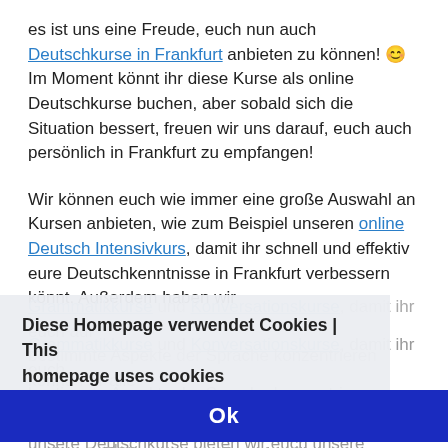es ist uns eine Freude, euch nun auch Deutschkurse in Frankfurt anbieten zu können! 😊 Im Moment könnt ihr diese Kurse als online Deutschkurse buchen, aber sobald sich die Situation bessert, freuen wir uns darauf, euch auch persönlich in Frankfurt zu empfangen!
Wir können euch wie immer eine große Auswahl an Kursen anbieten, wie zum Beispiel unseren online Deutsch Intensivkurs, damit ihr schnell und effektiv eure Deutschkenntnisse in Frankfurt verbessern könnt. Außerdem haben wir Grammatikkurse und Konversationskurse, damit ihr euch auf bestimmte Aspekte der Sprache konzentrieren könnt. Für alle unsere Deutschkurse bieten wir euch unsere Qualitäts- und Geld-zurück-Garantie.
Macht noch heute online unseren kostenfreien und unverbindlichen Einstufungstest! Wir haben mit Sicherheit den perfekten Deutschkurs in Frankfurt für euch.
Diese Homepage verwendet Cookies | This homepage uses cookies
Datenschutzerklärung
Ok